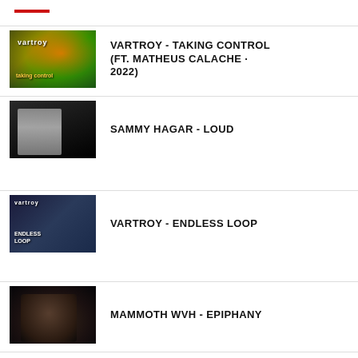VARTROY - TAKING CONTROL (FT. MATHEUS CALACHE · 2022)
SAMMY HAGAR - LOUD
VARTROY - ENDLESS LOOP
MAMMOTH WVH - EPIPHANY
ARCHIVE